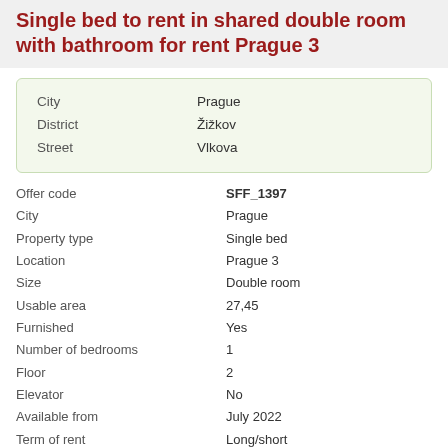Single bed to rent in shared double room with bathroom for rent Prague 3
| Field | Value |
| --- | --- |
| City | Prague |
| District | Žižkov |
| Street | Vlkova |
| Field | Value |
| --- | --- |
| Offer code | SFF_1397 |
| City | Prague |
| Property type | Single bed |
| Location | Prague 3 |
| Size | Double room |
| Usable area | 27,45 |
| Furnished | Yes |
| Number of bedrooms | 1 |
| Floor | 2 |
| Elevator | No |
| Available from | July 2022 |
| Term of rent | Long/short |
| Internet | Included |
| Meeting room | Yes |
| Laundry | Yes |
| Monthly total amount | 7 500 CZK |
| Commission for SFF Czech | 6 000 CZK |